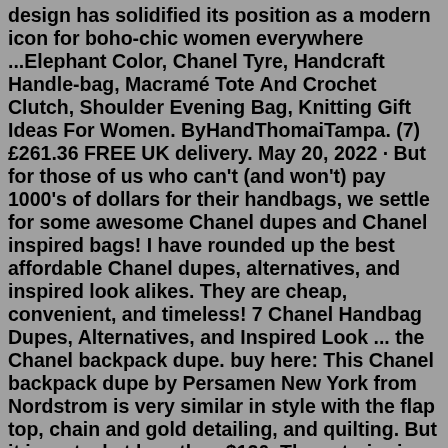design has solidified its position as a modern icon for boho-chic women everywhere ...Elephant Color, Chanel Tyre, Handcraft Handle-bag, Macramé Tote And Crochet Clutch, Shoulder Evening Bag, Knitting Gift Ideas For Women. ByHandThomaiTampa. (7) £261.36 FREE UK delivery. May 20, 2022 · But for those of us who can't (and won't) pay 1000's of dollars for their handbags, we settle for some awesome Chanel dupes and Chanel inspired bags! I have rounded up the best affordable Chanel dupes, alternatives, and inspired look alikes. They are cheap, convenient, and timeless! 7 Chanel Handbag Dupes, Alternatives, and Inspired Look ... the Chanel backpack dupe. buy here: This Chanel backpack dupe by Persamen New York from Nordstrom is very similar in style with the flap top, chain and gold detailing, and quilting. But it is a steal at less than $120. The exterior is genuine leather with a fabric interior and the straps are adjustable.Now, its bags are proving even more popular than its shoes, and it's not hard to see why. Charles & Keith Cream Aviary